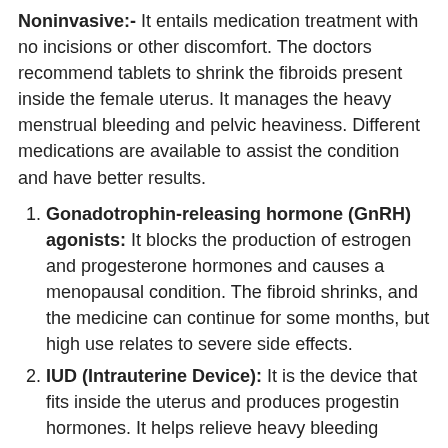Noninvasive:- It entails medication treatment with no incisions or other discomfort. The doctors recommend tablets to shrink the fibroids present inside the female uterus. It manages the heavy menstrual bleeding and pelvic heaviness. Different medications are available to assist the condition and have better results.
Gonadotrophin-releasing hormone (GnRH) agonists: It blocks the production of estrogen and progesterone hormones and causes a menopausal condition. The fibroid shrinks, and the medicine can continue for some months, but high use relates to severe side effects.
IUD (Intrauterine Device): It is the device that fits inside the uterus and produces progestin hormones. It helps relieve heavy bleeding during periods but does not affect the fibroid.
Your expert will suggest other medicines to reduce the pain and manage heavy flow during menstruation. They do not affect the fibroid or does not shrink them.
MRI process: It performs during your MRI (Magnetic resonance imaging) diagnosis that sends high-resolution...